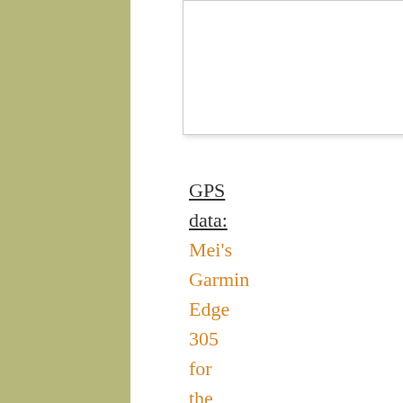[Figure (other): Blank white image box with light border]
GPS data: Mei's Garmin Edge 305 for the northbound ride only (the battery died soon after)and Erik's Edge